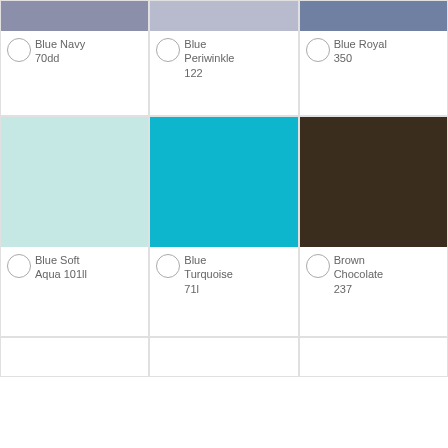[Figure (illustration): Color swatch card: Blue Navy 70dd - muted blue-gray swatch]
Blue Navy 70dd
[Figure (illustration): Color swatch card: Blue Periwinkle 122 - light lavender-blue swatch]
Blue Periwinkle 122
[Figure (illustration): Color swatch card: Blue Royal 350 - medium steel blue swatch]
Blue Royal 350
[Figure (illustration): Color swatch card: Blue Soft Aqua 101ll - pale mint/aqua swatch]
Blue Soft Aqua 101ll
[Figure (illustration): Color swatch card: Blue Turquoise 71l - vivid cyan/turquoise swatch]
Blue Turquoise 71l
[Figure (illustration): Color swatch card: Brown Chocolate 237 - dark brown swatch]
Brown Chocolate 237